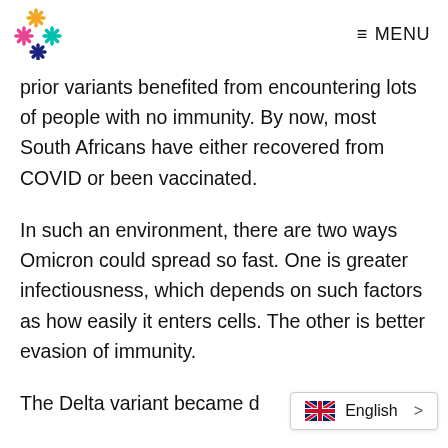≡ MENU
prior variants benefited from encountering lots of people with no immunity. By now, most South Africans have either recovered from COVID or been vaccinated.
In such an environment, there are two ways Omicron could spread so fast. One is greater infectiousness, which depends on such factors as how easily it enters cells. The other is better evasion of immunity.
The Delta variant became d…